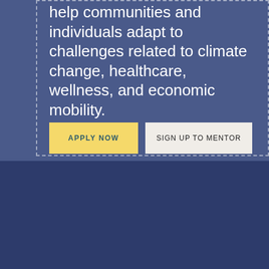help communities and individuals adapt to challenges related to climate change, healthcare, wellness, and economic mobility.
APPLY NOW
SIGN UP TO MENTOR
This website uses cookies. By using our website you agree to our Cookie Policy.
GOT IT